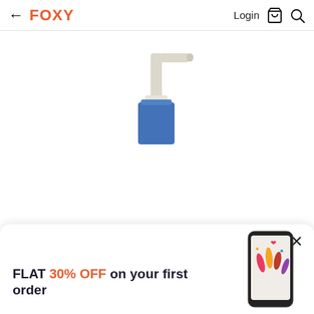← FOXY   Login 🛍 🔍
[Figure (illustration): A pump dispenser bottle with a blue rectangular body and a beige/white pump head with a nozzle pointing to the upper right. The bottle appears to be a skincare or soap product shown against a white background.]
FLAT 30% OFF on your first order
[Figure (illustration): Partial image of a smartphone showing a beauty/nail-related screen, displayed in the bottom-right popup area.]